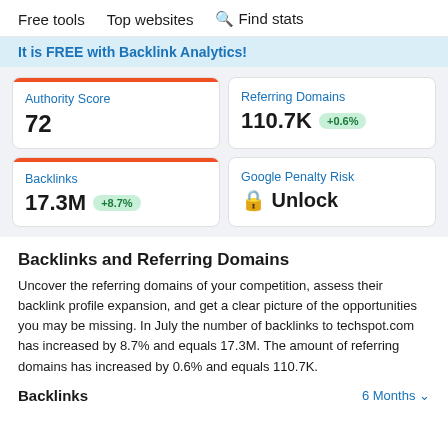Free tools   Top websites   🔍 Find stats
It is FREE with Backlink Analytics!
| Metric | Value | Change |
| --- | --- | --- |
| Authority Score | 72 |  |
| Referring Domains | 110.7K | +0.6% |
| Backlinks | 17.3M | +8.7% |
| Google Penalty Risk | Unlock |  |
Backlinks and Referring Domains
Uncover the referring domains of your competition, assess their backlink profile expansion, and get a clear picture of the opportunities you may be missing. In July the number of backlinks to techspot.com has increased by 8.7% and equals 17.3M. The amount of referring domains has increased by 0.6% and equals 110.7K.
Backlinks
6 Months